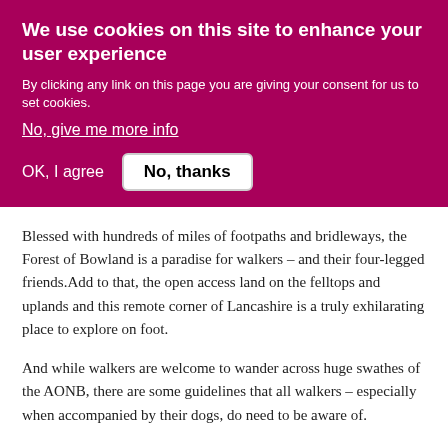We use cookies on this site to enhance your user experience
By clicking any link on this page you are giving your consent for us to set cookies.
No, give me more info
OK, I agree
No, thanks
Blessed with hundreds of miles of footpaths and bridleways, the Forest of Bowland is a paradise for walkers – and their four-legged friends. Add to that, the open access land on the felltops and uplands and this remote corner of Lancashire is a truly exhilarating place to explore on foot.
And while walkers are welcome to wander across huge swathes of the AONB, there are some guidelines that all walkers – especially when accompanied by their dogs, do need to be aware of.
The rich valleys of Bowland are home to sheep and cattle and pets need to be kept under close control near livestock. On the